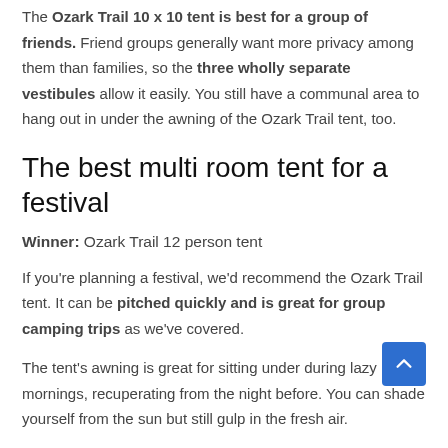The Ozark Trail 10 x 10 tent is best for a group of friends. Friend groups generally want more privacy among them than families, so the three wholly separate vestibules allow it easily. You still have a communal area to hang out in under the awning of the Ozark Trail tent, too.
The best multi room tent for a festival
Winner: Ozark Trail 12 person tent
If you're planning a festival, we'd recommend the Ozark Trail tent. It can be pitched quickly and is great for group camping trips as we've covered.
The tent's awning is great for sitting under during lazy mornings, recuperating from the night before. You can shade yourself from the sun but still gulp in the fresh air.
Which three room tent is easiest to